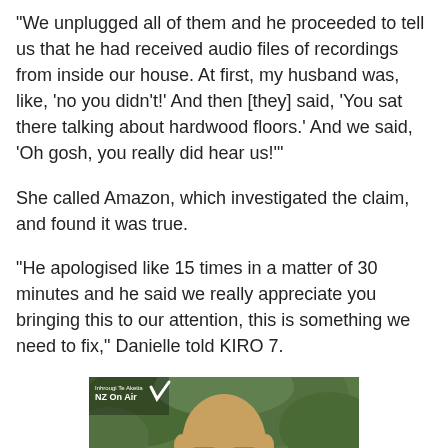"We unplugged all of them and he proceeded to tell us that he had received audio files of recordings from inside our house. At first, my husband was, like, 'no you didn't!' And then [they] said, 'You sat there talking about hardwood floors.' And we said, 'Oh gosh, you really did hear us!'"
She called Amazon, which investigated the claim, and found it was true.
"He apologised like 15 times in a matter of 30 minutes and he said we really appreciate you bringing this to our attention, this is something we need to fix," Danielle told KIRO 7.
[Figure (photo): Photo of a bald man wearing dark-framed glasses, with green foliage in the background. NZ On Air logo visible in upper left corner.]